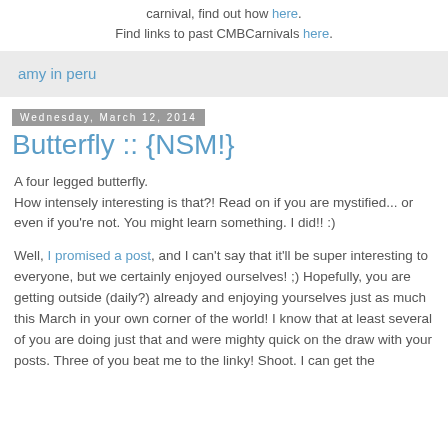carnival, find out how here. Find links to past CMBCarnivals here.
amy in peru
Wednesday, March 12, 2014
Butterfly :: {NSM!}
A four legged butterfly.
How intensely interesting is that?! Read on if you are mystified... or even if you're not. You might learn something. I did!! :)
Well, I promised a post, and I can't say that it'll be super interesting to everyone, but we certainly enjoyed ourselves! ;) Hopefully, you are getting outside (daily?) already and enjoying yourselves just as much this March in your own corner of the world! I know that at least several of you are doing just that and were mighty quick on the draw with your posts. Three of you beat me to the linky! Shoot. I can get the